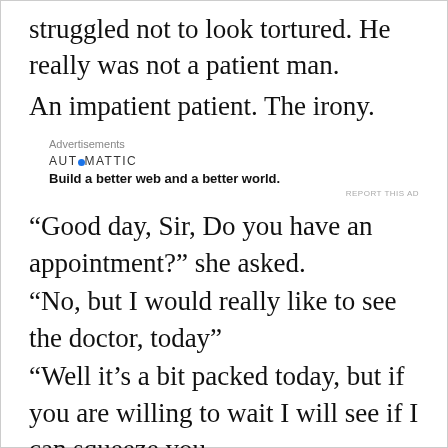struggled not to look tortured. He really was not a patient man.
An impatient patient. The irony.
[Figure (other): Automattic advertisement block with tagline: Build a better web and a better world.]
“Good day, Sir, Do you have an appointment?” she asked.
“No, but I would really like to see the doctor, today”
“Well it’s a bit packed today, but if you are willing to wait I will see if I can squeeze you